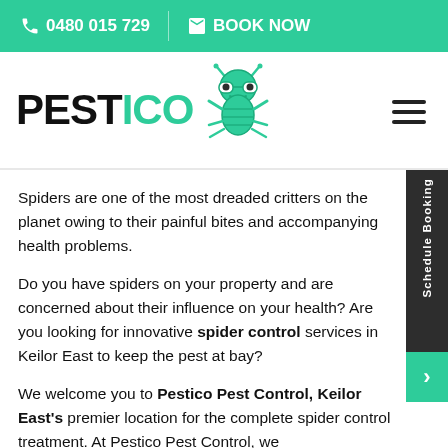📞 0480 015 729 | ✉ BOOK NOW
[Figure (logo): Pestico logo with green cartoon bug character and hamburger menu icon]
Spiders are one of the most dreaded critters on the planet owing to their painful bites and accompanying health problems.
Do you have spiders on your property and are concerned about their influence on your health? Are you looking for innovative spider control services in Keilor East to keep the pest at bay?
We welcome you to Pestico Pest Control, Keilor East's premier location for the complete spider control treatment. At Pestico Pest Control, we